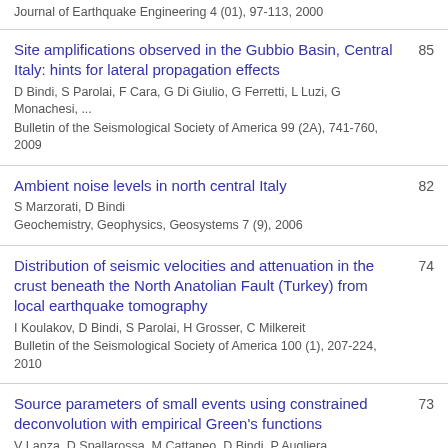Journal of Earthquake Engineering 4 (01), 97-113, 2000
Site amplifications observed in the Gubbio Basin, Central Italy: hints for lateral propagation effects | D Bindi, S Parolai, F Cara, G Di Giulio, G Ferretti, L Luzi, G Monachesi, ... | Bulletin of the Seismological Society of America 99 (2A), 741-760, 2009 | 85
Ambient noise levels in north central Italy | S Marzorati, D Bindi | Geochemistry, Geophysics, Geosystems 7 (9), 2006 | 82
Distribution of seismic velocities and attenuation in the crust beneath the North Anatolian Fault (Turkey) from local earthquake tomography | I Koulakov, D Bindi, S Parolai, H Grosser, C Milkereit | Bulletin of the Seismological Society of America 100 (1), 207-224, 2010 | 74
Source parameters of small events using constrained deconvolution with empirical Green's functions | V Lanza, D Spallarossa, M Cattaneo, D Bindi, P Augliera | 73